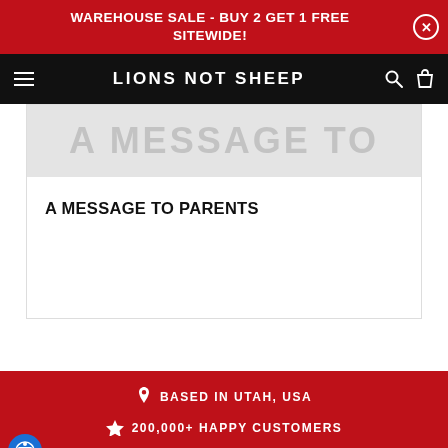WAREHOUSE SALE - BUY 2 GET 1 FREE SITEWIDE!
LIONS NOT SHEEP
[Figure (illustration): Partially visible thumbnail image with gray overlay showing large bold text, associated with article 'A MESSAGE TO PARENTS']
A MESSAGE TO PARENTS
BASED IN UTAH, USA
200,000+ HAPPY CUSTOMERS
FAST USA SHIPPING
+1 (385) 855-4667